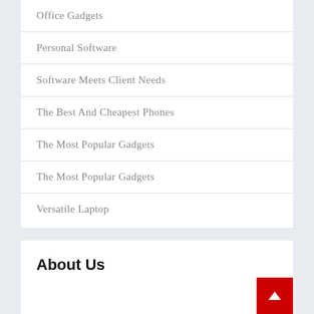Office Gadgets
Personal Software
Software Meets Client Needs
The Best And Cheapest Phones
The Most Popular Gadgets
The Most Popular Gadgets
Versatile Laptop
About Us